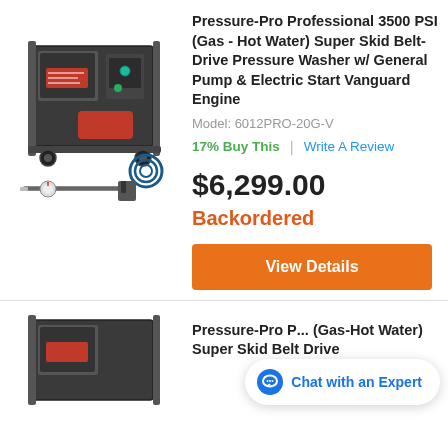[Figure (photo): Pressure-Pro Professional 3500 PSI pressure washer product photo showing the machine with hose and wand accessories on white background]
Pressure-Pro Professional 3500 PSI (Gas - Hot Water) Super Skid Belt-Drive Pressure Washer w/ General Pump & Electric Start Vanguard Engine
Model: 6012PRO-20G-V
17% Buy This | Write A Review
$6,299.00
Backordered
View Details
[Figure (photo): Partial product photo of a second Pressure-Pro pressure washer at the bottom of the page, partially cut off]
Pressure-Pro P... (Gas-Hot Water) Super Skid Belt Drive
Chat with an Expert